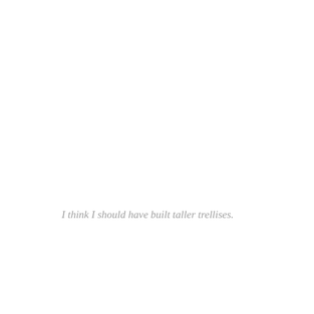I think I should have built taller trellises.